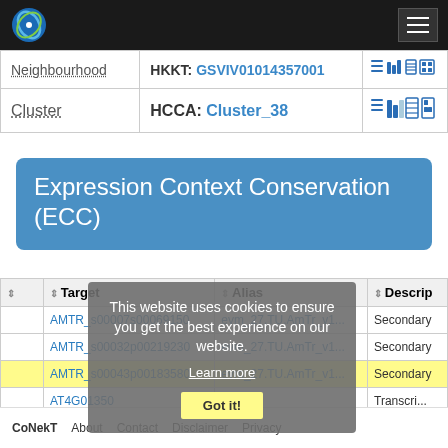|  | Label | Value | Icons |
| --- | --- | --- | --- |
|  | Neighbourhood | HKKT: GSVIV01014357001 | icons |
|  | Cluster | HCCA: Cluster_38 | icons |
Expression Context Conservation (ECC)
| Target | Alias | Description |
| --- | --- | --- |
| AMTR_s00007s00069150 | evm_27.TU.AmTr_v1... | Secondary |
| AMTR_s00032p00219230 | evm_27.TU.AmTr_v1... | Secondary |
| AMTR_s00043p00183580 | evm_27.TU.AmTr_v1... | Secondary |
| AT4G01350 | ... | Transcript |
This website uses cookies to ensure you get the best experience on our website.
Learn more
Got it!
CoNekT  About  Contact  Disclaimer  Privacy policy